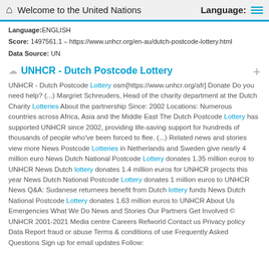Welcome to the United Nations   Language:
Language: ENGLISH
Score: 1497561.1 - https://www.unhcr.org/en-au/dutch-postcode-lottery.html
Data Source: UN
UNHCR - Dutch Postcode Lottery
UNHCR - Dutch Postcode Lottery osm[https://www.unhcr.org/afr] Donate Do you need help? (...) Margriet Schreuders, Head of the charity department at the Dutch Charity Lotteries About the partnership Since: 2002 Locations: Numerous countries across Africa, Asia and the Middle East The Dutch Postcode Lottery has supported UNHCR since 2002, providing life-saving support for hundreds of thousands of people who've been forced to flee. (...) Related news and stories view more News Postcode Lotteries in Netherlands and Sweden give nearly 4 million euro News Dutch National Postcode Lottery donates 1.35 million euros to UNHCR News Dutch lottery donates 1.4 million euros for UNHCR projects this year News Dutch National Postcode Lottery donates 1 million euros to UNHCR News Q&A: Sudanese returnees benefit from Dutch lottery funds News Dutch National Postcode Lottery donates 1.63 million euros to UNHCR About Us Emergencies What We Do News and Stories Our Partners Get Involved © UNHCR 2001-2021 Media centre Careers Refworld Contact us Privacy policy Data Report fraud or abuse Terms & conditions of use Frequently Asked Questions Sign up for email updates Follow: